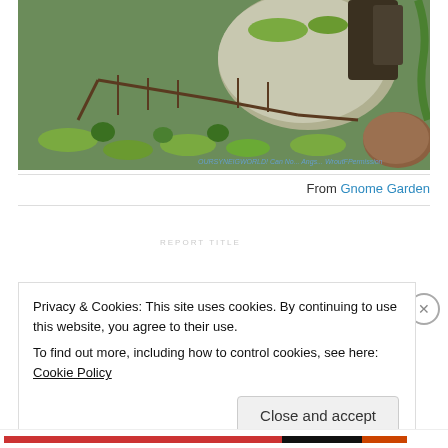[Figure (photo): A miniature fairy garden or gnome garden scene with small wooden twig fences, green moss, tiny plants, rocks and stones, and small decorative structures resembling miniature buildings.]
From Gnome Garden
Privacy & Cookies: This site uses cookies. By continuing to use this website, you agree to their use.
To find out more, including how to control cookies, see here: Cookie Policy
Close and accept